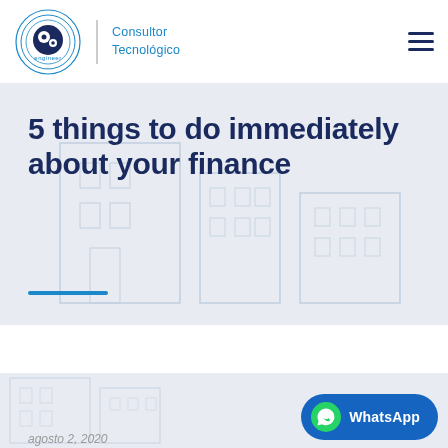[Figure (logo): Engineer Consultor Tecnológico logo with circular icon and blue text]
[Figure (illustration): Hero banner with light blue/grey background showing faint building/architectural illustration]
5 things to do immediately about your finance
[Figure (photo): Bottom section with faint building background image]
agosto 2, 2020